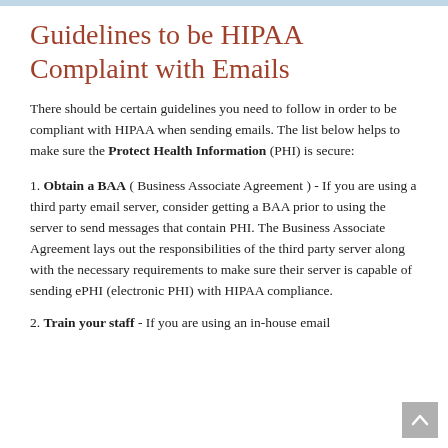Guidelines to be HIPAA Complaint with Emails
There should be certain guidelines you need to follow in order to be compliant with HIPAA when sending emails. The list below helps to make sure the Protect Health Information (PHI) is secure:
1. Obtain a BAA ( Business Associate Agreement ) - If you are using a third party email server, consider getting a BAA prior to using the server to send messages that contain PHI. The Business Associate Agreement lays out the responsibilities of the third party server along with the necessary requirements to make sure their server is capable of sending ePHI (electronic PHI) with HIPAA compliance.
2. Train your staff - If you are using an in-house email